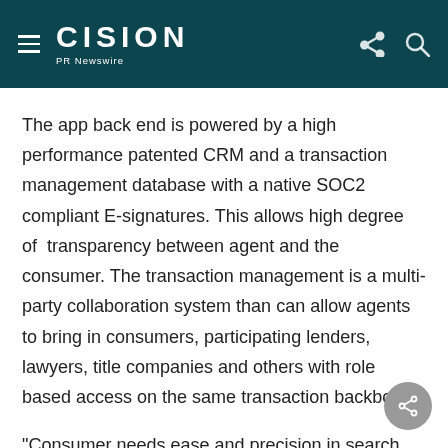CISION PR Newswire
The app back end is powered by a high performance patented CRM and a transaction management database with a native SOC2 compliant E-signatures. This allows high degree of  transparency between agent and the consumer. The transaction management is a multi-party collaboration system than can allow agents to bring in consumers, participating lenders, lawyers, title companies and others with role based access on the same transaction backbone.
"Consumer needs ease and precision in search an...